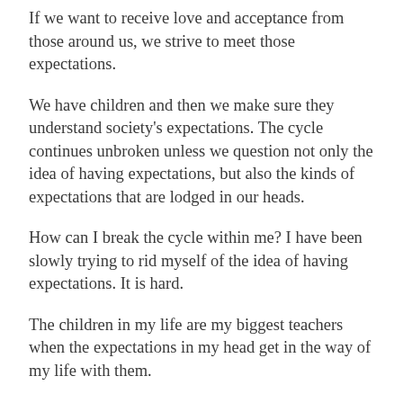If we want to receive love and acceptance from those around us, we strive to meet those expectations.
We have children and then we make sure they understand society's expectations. The cycle continues unbroken unless we question not only the idea of having expectations, but also the kinds of expectations that are lodged in our heads.
How can I break the cycle within me? I have been slowly trying to rid myself of the idea of having expectations. It is hard.
The children in my life are my biggest teachers when the expectations in my head get in the way of my life with them.
My feelings are also a barometer for when I am bumping up against this socialization. When I am angry, it can be a